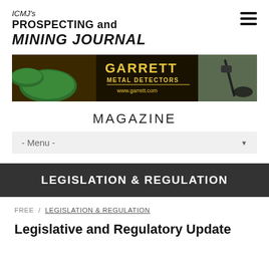ICMJ's PROSPECTING and MINING JOURNAL
[Figure (illustration): Garrett Metal Detectors advertisement banner showing green gold pans on the left and a metal detector on the right with text 'GARRETT METAL DETECTORS www.garrett.com']
MAGAZINE
- Menu -
LEGISLATION & REGULATION
FREE / LEGISLATION & REGULATION
Legislative and Regulatory Update